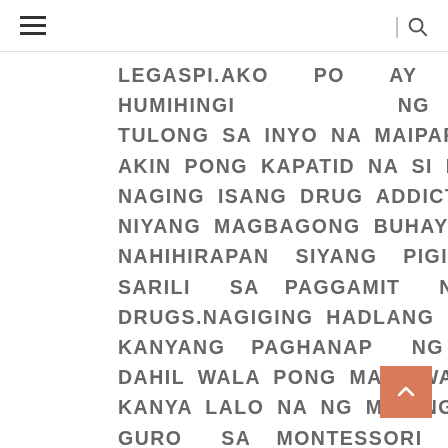≡ | 🔍
LEGASPI.AKO PO AY HUMIHINGI NG TULONG SA INYO NA MAIPAREHAB ANG AKIN PONG KAPATID NA SI RAMON NA NAGING ISANG DRUG ADDICT.GUSTO PO NIYANG MAGBAGONG BUHAY SUBALIT NAHIHIRAPAN SIYANG PIGILAN ANG SARILI SA PAGGAMIT NG ILLEGAL DRUGS.NAGIGING HADLANG PO ITO SA KANYANG PAGHANAP NG TRABAHO DAHIL WALA PONG MAGTIWALA NA SA KANYA LALO NA NG MAGING ISA SIYANG GURO SA MONTESSORI NA ITINANGAL SIYANG TINGGAL SA PAGTUTURO NG GURO.WALA PO KAMING PANTUSTOS SA KANYA SA PAGPAPAREHAB KAYA